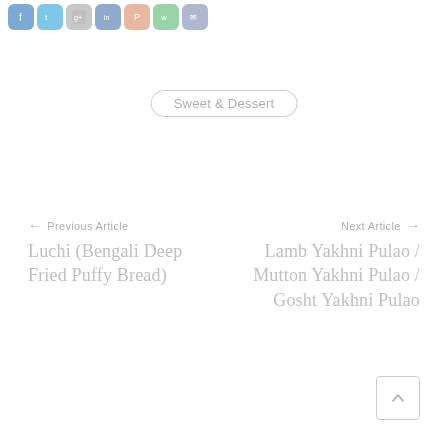[Figure (other): Row of social media sharing icon buttons: Facebook (blue), Twitter (light blue), Google+ (gray), LinkedIn (blue-gray), Pinterest (peach), WhatsApp (green), Email (blue-gray)]
Sweet & Dessert
← Previous Article
Luchi (Bengali Deep Fried Puffy Bread)
Next Article →
Lamb Yakhni Pulao / Mutton Yakhni Pulao / Gosht Yakhni Pulao